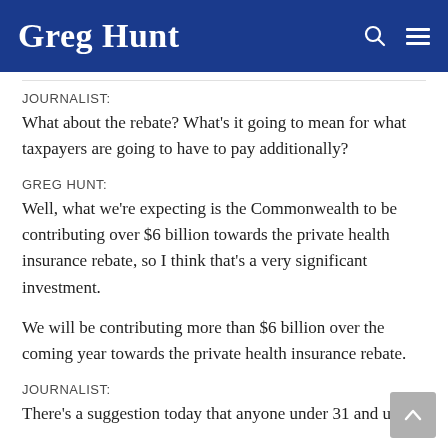Greg Hunt
JOURNALIST:
What about the rebate? What's it going to mean for what taxpayers are going to have to pay additionally?
GREG HUNT:
Well, what we're expecting is the Commonwealth to be contributing over $6 billion towards the private health insurance rebate, so I think that's a very significant investment.
We will be contributing more than $6 billion over the coming year towards the private health insurance rebate.
JOURNALIST:
There's a suggestion today that anyone under 31 and under…